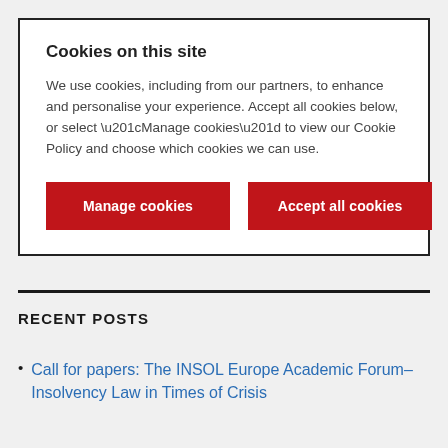Cookies on this site
We use cookies, including from our partners, to enhance and personalise your experience. Accept all cookies below, or select “Manage cookies” to view our Cookie Policy and choose which cookies we can use.
Manage cookies | Accept all cookies
RECENT POSTS
Call for papers: The INSOL Europe Academic Forum– Insolvency Law in Times of Crisis